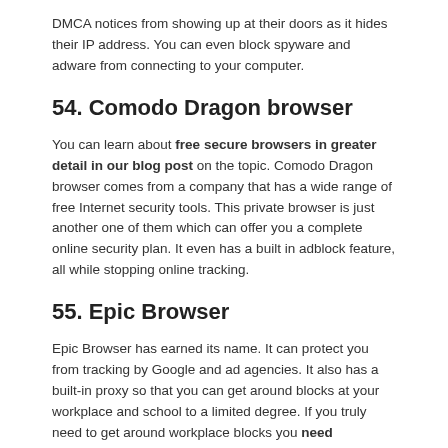DMCA notices from showing up at their doors as it hides their IP address. You can even block spyware and adware from connecting to your computer.
54. Comodo Dragon browser
You can learn about free secure browsers in greater detail in our blog post on the topic. Comodo Dragon browser comes from a company that has a wide range of free Internet security tools. This private browser is just another one of them which can offer you a complete online security plan. It even has a built in adblock feature, all while stopping online tracking.
55. Epic Browser
Epic Browser has earned its name. It can protect you from tracking by Google and ad agencies. It also has a built-in proxy so that you can get around blocks at your workplace and school to a limited degree. If you truly need to get around workplace blocks you need encryption in the form of a VPN.